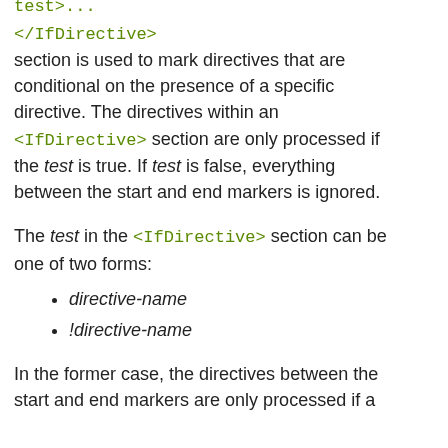test>...
</IfDirective>
section is used to mark directives that are conditional on the presence of a specific directive. The directives within an <IfDirective> section are only processed if the test is true. If test is false, everything between the start and end markers is ignored.
The test in the <IfDirective> section can be one of two forms:
directive-name
!directive-name
In the former case, the directives between the start and end markers are only processed if a